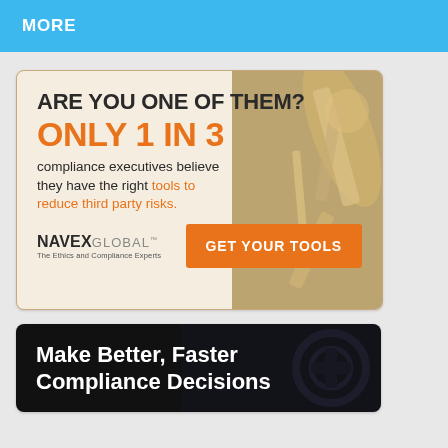MORE
[Figure (infographic): NAVEX Global advertisement. Text: 'ARE YOU ONE OF THEM? ONLY 1 IN 3 compliance executives believe they have the right tools to reduce third party risks.' With a 'GET YOUR TOOLS' call-to-action button. NAVEX Global logo with tagline 'The Ethics and Compliance Experts'. Background shows tools (hammer, wrenches).]
[Figure (infographic): Dark advertisement with text: 'Make Better, Faster Compliance Decisions']